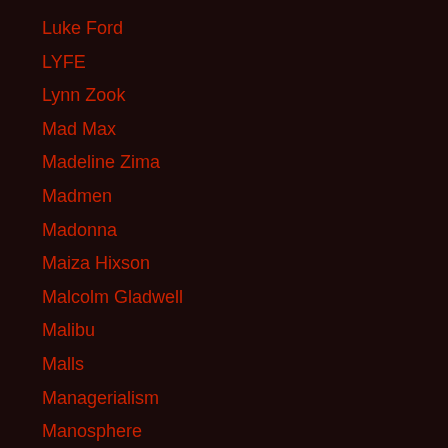Luke Ford
LYFE
Lynn Zook
Mad Max
Madeline Zima
Madmen
Madonna
Maiza Hixson
Malcolm Gladwell
Malibu
Malls
Managerialism
Manosphere
Mansionization
Manuel Ochsenreiter